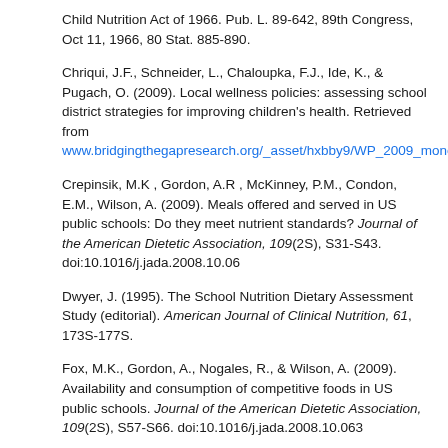Child Nutrition Act of 1966. Pub. L. 89-642, 89th Congress, Oct 11, 1966, 80 Stat. 885-890.
Chriqui, J.F., Schneider, L., Chaloupka, F.J., Ide, K., & Pugach, O. (2009). Local wellness policies: assessing school district strategies for improving children's health. Retrieved from www.bridgingthegapresearch.org/_asset/hxbby9/WP_2009_monog
Crepinsik, M.K , Gordon, A.R , McKinney, P.M., Condon, E.M., Wilson, A. (2009). Meals offered and served in US public schools: Do they meet nutrient standards? Journal of the American Dietetic Association, 109(2S), S31-S43. doi:10.1016/j.jada.2008.10.06
Dwyer, J. (1995). The School Nutrition Dietary Assessment Study (editorial). American Journal of Clinical Nutrition, 61, 173S-177S.
Fox, M.K., Gordon, A., Nogales, R., & Wilson, A. (2009). Availability and consumption of competitive foods in US public schools. Journal of the American Dietetic Association, 109(2S), S57-S66. doi:10.1016/j.jada.2008.10.063